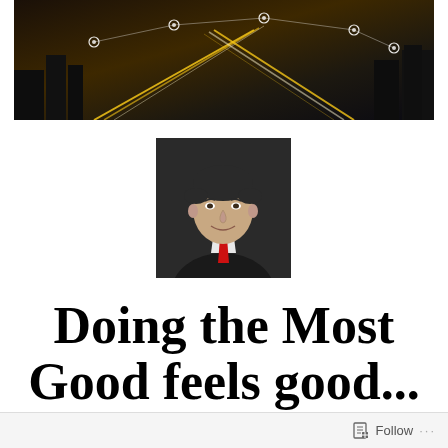[Figure (photo): Aerial night cityscape photograph with light trails and network connection nodes overlaid, serving as a banner/header image]
[Figure (photo): Professional headshot of a middle-aged man in a dark suit with a red tie, smiling, against a dark background]
Doing the Most Good feels good...
Follow ...